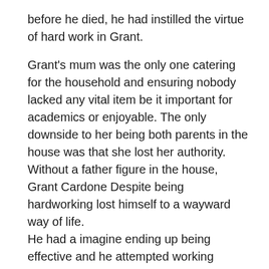before he died, he had instilled the virtue of hard work in Grant.
Grant's mum was the only one catering for the household and ensuring nobody lacked any vital item be it important for academics or enjoyable. The only downside to her being both parents in the house was that she lost her authority. Without a father figure in the house, Grant Cardone Despite being hardworking lost himself to a wayward way of life. He had a imagine ending up being effective and he attempted working towards it. After he stopped working, he entirely lost focus and became a addict. He took almost every drug he might find.